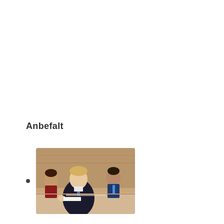Anbefalt
[Figure (photo): A man in a dark suit sitting at a table, appearing to be in a meeting room with other people visible in the background. The setting looks formal/governmental.]